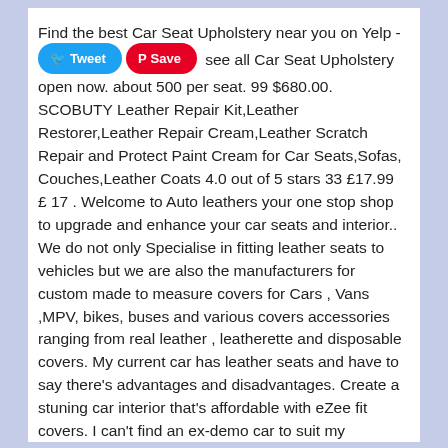Find the best Car Seat Upholstery near you on Yelp - see all Car Seat Upholstery open now. about 500 per seat. 99 $680.00. SCOBUTY Leather Repair Kit,Leather Restorer,Leather Repair Cream,Leather Scratch Repair and Protect Paint Cream for Car Seats,Sofas, Couches,Leather Coats 4.0 out of 5 stars 33 £17.99 £ 17 . Welcome to Auto leathers your one stop shop to upgrade and enhance your car seats and interior.. We do not only Specialise in fitting leather seats to vehicles but we are also the manufacturers for custom made to measure covers for Cars , Vans ,MPV, bikes, buses and various covers accessories ranging from real leather , leatherette and disposable covers. My current car has leather seats and have to say there's advantages and disadvantages. Create a stuning car interior that's affordable with eZee fit covers. I can't find an ex-demo car to suit my specification. When you throw away an expired or unsafe car seat, take it apart and put the pieces in separate dark trash bags to prevent someone else from using it. It needs a lot of care and attention to be able to pull off leather